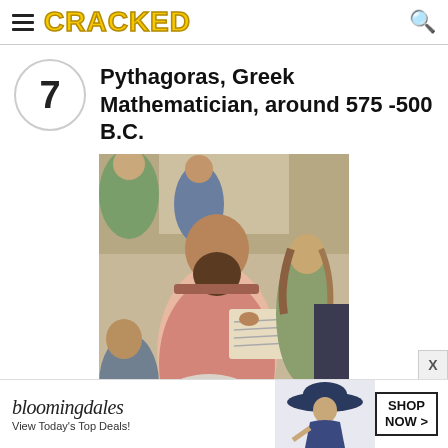CRACKED
7 · Pythagoras, Greek Mathematician, around 575 -500 B.C.
[Figure (photo): Classical Renaissance painting detail showing Pythagoras, a bearded man in a pink robe, writing in a book, with other figures around him — likely from Raphael's School of Athens.]
[Figure (other): Bloomingdale's advertisement banner: 'bloomingdales / View Today's Top Deals!' with a woman in a hat and a SHOP NOW button.]